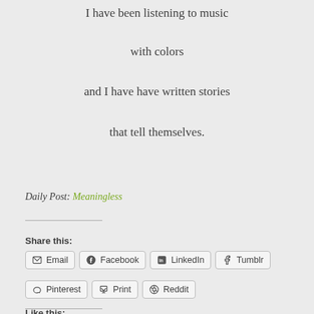I have been listening to music
with colors
and I have have written stories
that tell themselves.
Daily Post: Meaningless
Share this:
Email  Facebook  LinkedIn  Tumblr  Pinterest  Print  Reddit
Like this: